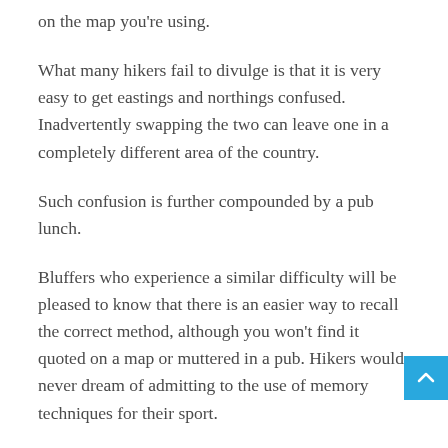on the map you're using.
What many hikers fail to divulge is that it is very easy to get eastings and northings confused. Inadvertently swapping the two can leave one in a completely different area of the country.
Such confusion is further compounded by a pub lunch.
Bluffers who experience a similar difficulty will be pleased to know that there is an easier way to recall the correct method, although you won't find it quoted on a map or muttered in a pub. Hikers would never dream of admitting to the use of memory techniques for their sport.
The perfect grid reference is created by going: along the corridor (eastings) and up the stairs (northings). Where you go after that is entirely up to you and at your own risk. Bluffers armed with all this knowledge can pick the right map reference with confidence.